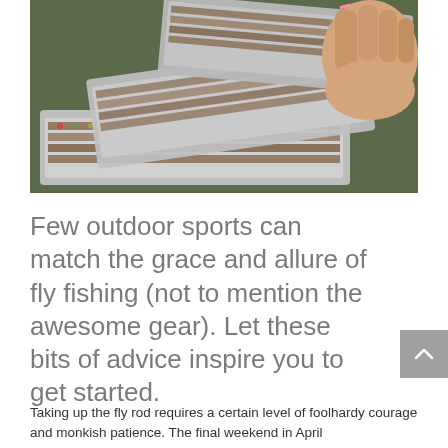[Figure (photo): Close-up photograph of multiple metal fly fishing tackle boxes open and fanned out, filled with rows of colorful fishing flies and lures. A person's hand is visible in the upper right reaching toward the boxes.]
Few outdoor sports can match the grace and allure of fly fishing (not to mention the awesome gear). Let these bits of advice inspire you to get started.
Taking up the fly rod requires a certain level of foolhardy courage and monkish patience. The final weekend in April